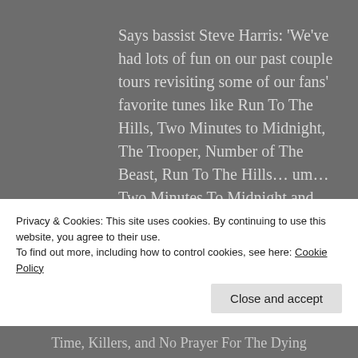Says bassist Steve Harris: 'We've had lots of fun on our past couple tours revisiting some of our fans' favorite tunes like Run To The Hills, Two Minutes to Midnight, The Trooper, Number of The Beast, Run To The Hills… um… Two Minutes To Midnight and, er… Run To The Hills. This time 'round we'll be sure to give the fans what they want, along with some rarer old tracks like Can I Play With Madness, Running Free, Aces High, Moonchild, and Wrathchild! Some of
Privacy & Cookies: This site uses cookies. By continuing to use this website, you agree to their use.
To find out more, including how to control cookies, see here: Cookie Policy
Close and accept
Time, Killers, and No Prayer For The Dying